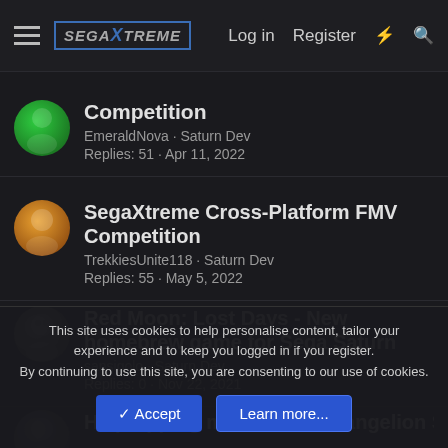SegaXtreme | Log in | Register
Competition
EmeraldNova · Saturn Dev
Replies: 51 · Apr 11, 2022
SegaXtreme Cross-Platform FMV Competition
TrekkiesUnite118 · Saturn Dev
Replies: 55 · May 5, 2022
Red Moon: Lost Days - New homebrew game for Sega Saturn
sansigolo · Saturn Dev
Replies: 0 · Nov 22, 2021
Help ripping music from Evangelion Sega Saturn
This site uses cookies to help personalise content, tailor your experience and to keep you logged in if you register.
By continuing to use this site, you are consenting to our use of cookies.